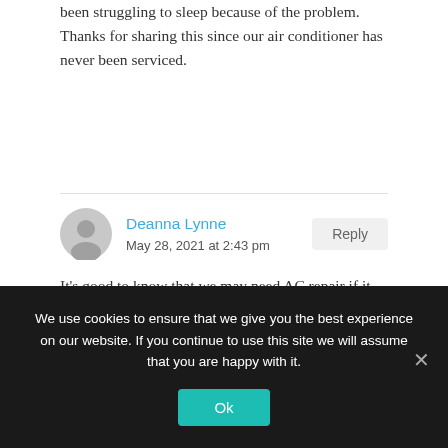been struggling to sleep because of the problem. Thanks for sharing this since our air conditioner has never been serviced.
Deanna Lynne
May 28, 2021 at 2:43 pm
It's good to know that we may need AC repair if it feels humid. It felt humid in my sister's home when I visited. Maybe I'll look for an air conditioner repair service to recommend to her.
We use cookies to ensure that we give you the best experience on our website. If you continue to use this site we will assume that you are happy with it.